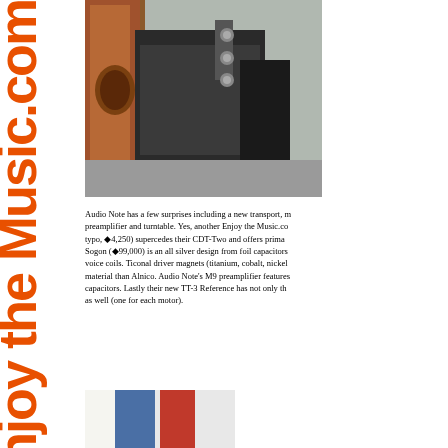Enjoy the Music.com
[Figure (photo): Photo of audio equipment - appears to be a CD transport or preamplifier with wooden side panels and metallic connectors on the back, viewed from an angle]
Audio Note has a few surprises including a new transport, m... preamplifier and turntable. Yes, another Enjoy the Music.co... typo, ◆4,250) supercedes their CDT-Two and offers prima... Sogon (◆99,000) is an all silver design from foil capacitors... voice coils. Ticonal driver magnets (titanium, cobalt, nickel... material than Alnico. Audio Note's M9 preamplifier features... capacitors. Lastly their new TT-3 Reference has not only th... as well (one for each motor).
[Figure (photo): Photo of audio equipment with blue and red colored elements, partially visible at bottom of page]